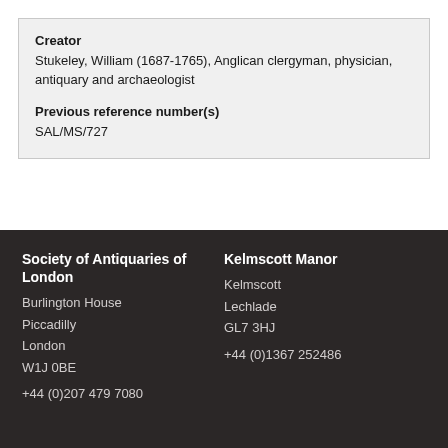Creator
Stukeley, William (1687-1765), Anglican clergyman, physician, antiquary and archaeologist
Previous reference number(s)
SAL/MS/727
Society of Antiquaries of London
Burlington House
Piccadilly
London
W1J 0BE

+44 (0)207 479 7080
Kelmscott Manor
Kelmscott
Lechlade
GL7 3HJ

+44 (0)1367 252486